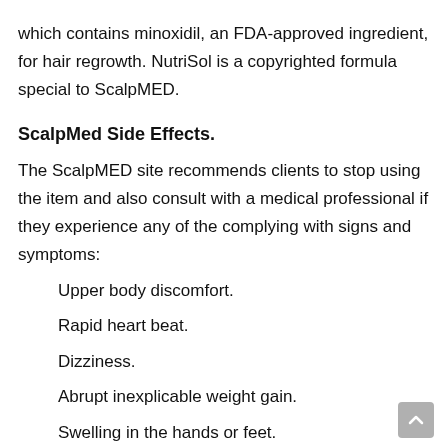which contains minoxidil, an FDA-approved ingredient, for hair regrowth. NutriSol is a copyrighted formula special to ScalpMED.
ScalpMed Side Effects.
The ScalpMED site recommends clients to stop using the item and also consult with a medical professional if they experience any of the complying with signs and symptoms:
Upper body discomfort.
Rapid heart beat.
Dizziness.
Abrupt inexplicable weight gain.
Swelling in the hands or feet.